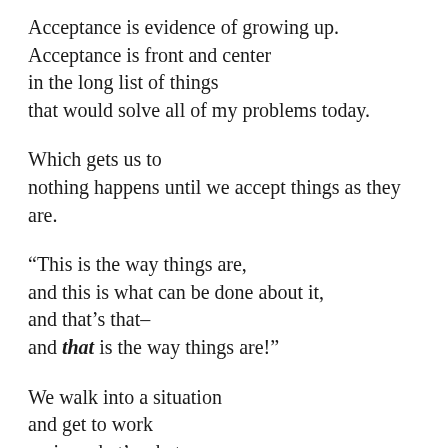Acceptance is evidence of growing up. Acceptance is front and center in the long list of things that would solve all of my problems today.
Which gets us to nothing happens until we accept things as they are.
“This is the way things are, and this is what can be done about it, and that’s that– and that is the way things are!”
We walk into a situation and get to work seeing what’s what